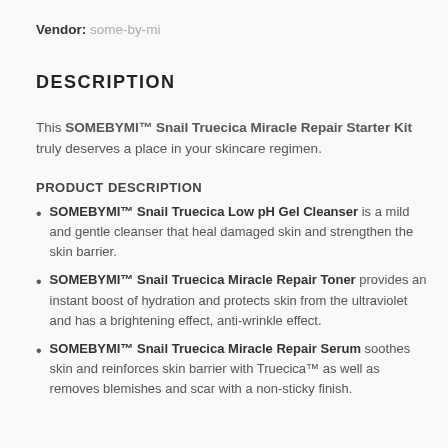Vendor: some-by-mi
DESCRIPTION
This SOMEBYMI™ Snail Truecica Miracle Repair Starter Kit truly deserves a place in your skincare regimen.
PRODUCT DESCRIPTION
SOMEBYMI™ Snail Truecica Low pH Gel Cleanser is a mild and gentle cleanser that heal damaged skin and strengthen the skin barrier.
SOMEBYMI™ Snail Truecica Miracle Repair Toner provides an instant boost of hydration and protects skin from the ultraviolet and has a brightening effect, anti-wrinkle effect.
SOMEBYMI™ Snail Truecica Miracle Repair Serum soothes skin and reinforces skin barrier with Truecica™ as well as removes blemishes and scar with a non-sticky finish.